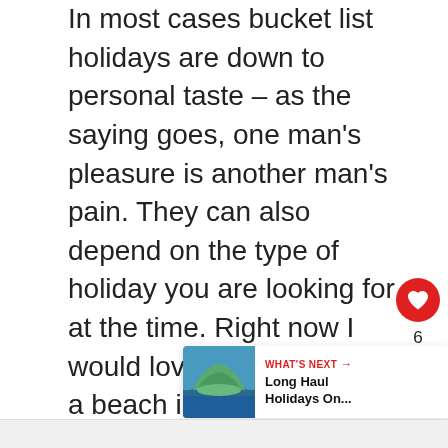In most cases bucket list holidays are down to personal taste – as the saying goes, one man's pleasure is another man's pain. They can also depend on the type of holiday you are looking for at the time. Right now I would love to be lying on a beach in Bora Bora, but if I was planning a bucket list family holiday for next year, I would probably choose a road trip across Western Canada, or a tour of Vietnam.
[Figure (infographic): Red heart/like button (circle) with heart icon, like count of 6, and share button below]
[Figure (infographic): WHAT'S NEXT promotional bar with thumbnail image of landscape, label 'WHAT'S NEXT' in red with arrow, and title 'Long Haul Holidays On...']